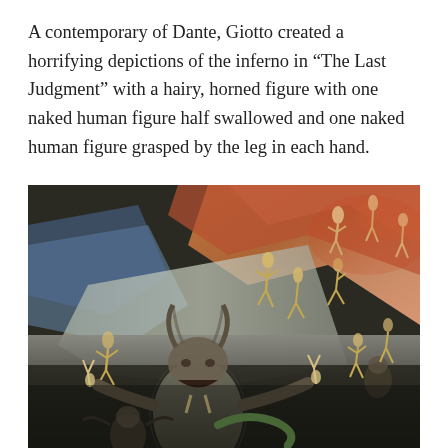A contemporary of Dante, Giotto created a horrifying depictions of the inferno in “The Last Judgment” with a hairy, horned figure with one naked human figure half swallowed and one naked human figure grasped by the leg in each hand.
[Figure (photo): A close-up photograph of Giotto's fresco 'The Last Judgment' showing the inferno scene with a large hairy horned devil figure at the bottom center, naked human figures being tormented, with red rocky terrain in the upper portion and dark regions below filled with figures.]